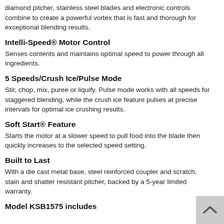diamond pitcher, stainless steel blades and electronic controls combine to create a powerful vortex that is fast and thorough for exceptional blending results.
Intelli-Speed® Motor Control
Senses contents and maintains optimal speed to power through all ingredients.
5 Speeds/Crush Ice/Pulse Mode
Stir, chop, mix, puree or liquify. Pulse mode works with all speeds for staggered blending, while the crush ice feature pulses at precise intervals for optimal ice crushing results.
Soft Start® Feature
Starts the motor at a slower speed to pull food into the blade then quickly increases to the selected speed setting.
Built to Last
With a die cast metal base, steel reinforced coupler and scratch, stain and shatter resistant pitcher, backed by a 5-year limited warranty.
Model KSB1575 includes